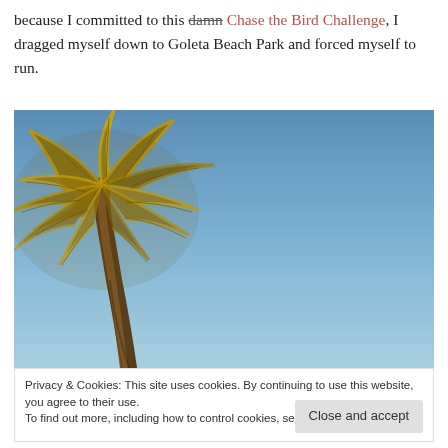because I committed to this damn Chase the Bird Challenge, I dragged myself down to Goleta Beach Park and forced myself to run.
[Figure (photo): A palm tree photographed from below against a clear blue sky. The palm fronds radiate outward filling the left portion of the image. The sky is a gradient blue, clear with no clouds.]
Privacy & Cookies: This site uses cookies. By continuing to use this website, you agree to their use.
To find out more, including how to control cookies, see here: Cookie Policy